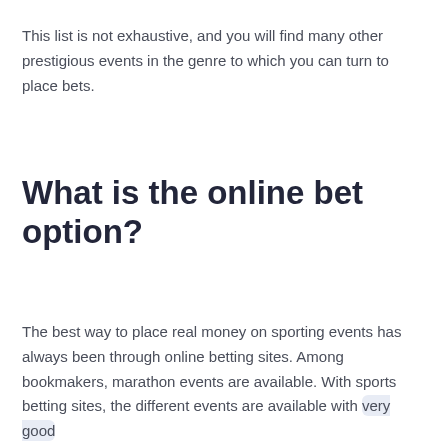This list is not exhaustive, and you will find many other prestigious events in the genre to which you can turn to place bets.
What is the online bet option?
The best way to place real money on sporting events has always been through online betting sites. Among bookmakers, marathon events are available. With sports betting sites, the different events are available with very good odds and the best options. On different platforms you can find...